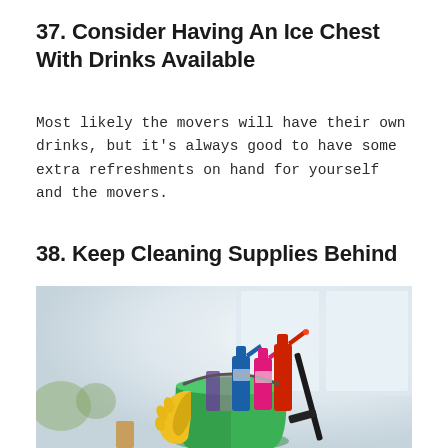37. Consider Having An Ice Chest With Drinks Available
Most likely the movers will have their own drinks, but it's always good to have some extra refreshments on hand for yourself and the movers.
38. Keep Cleaning Supplies Behind
[Figure (photo): A green bucket filled with cleaning supplies including yellow rubber gloves, pink and blue spray bottles, a black squeegee, and other cleaning products, photographed in a bright room with windows in the background.]